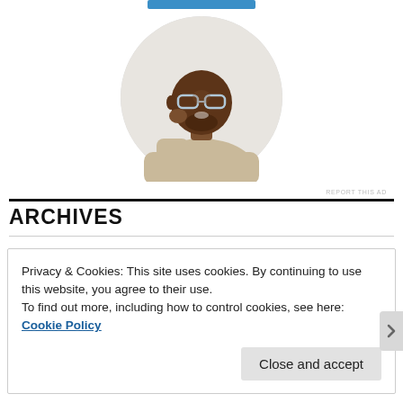[Figure (photo): Circular profile photo of a young Black man with glasses, wearing a beige t-shirt, sitting at a desk with hand raised near his chin, smiling and looking upward]
REPORT THIS AD
ARCHIVES
Privacy & Cookies: This site uses cookies. By continuing to use this website, you agree to their use.
To find out more, including how to control cookies, see here: Cookie Policy
Close and accept